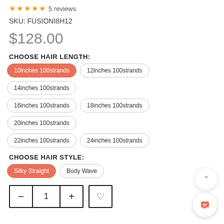★★★★★ 5 reviews
SKU: FUSIONI8H12
$128.00
CHOOSE HAIR LENGTH:
10inches 100strands (selected)
12inches 100strands
14inches 100strands
16inches 100strands
18inches 100strands
20inches 100strands
22inches 100strands
24inches 100strands
CHOOSE HAIR STYLE:
Silky Straight (selected)
Body Wave
Quantity: 1